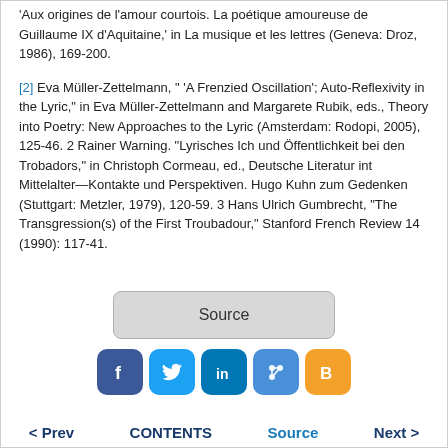'Aux origines de l'amour courtois. La poétique amoureuse de Guillaume IX d'Aquitaine,' in La musique et les lettres (Geneva: Droz, 1986), 169-200.
[2] Eva Müller-Zettelmann, " 'A Frenzied Oscillation'; Auto-Reflexivity in the Lyric," in Eva Müller-Zettelmann and Margarete Rubik, eds., Theory into Poetry: New Approaches to the Lyric (Amsterdam: Rodopi, 2005), 125-46. 2 Rainer Warning. "Lyrisches Ich und Öffentlichkeit bei den Trobadors," in Christoph Cormeau, ed., Deutsche Literatur int Mittelalter—Kontakte und Perspektiven. Hugo Kuhn zum Gedenken (Stuttgart: Metzler, 1979), 120-59. 3 Hans Ulrich Gumbrecht, "The Transgression(s) of the First Troubadour," Stanford French Review 14 (1990): 117-41.
[Figure (other): Source button]
[Figure (other): Social media sharing icons: Facebook, Twitter, LinkedIn, Google+, Blogger]
< Prev   CONTENTS   Source   Next >